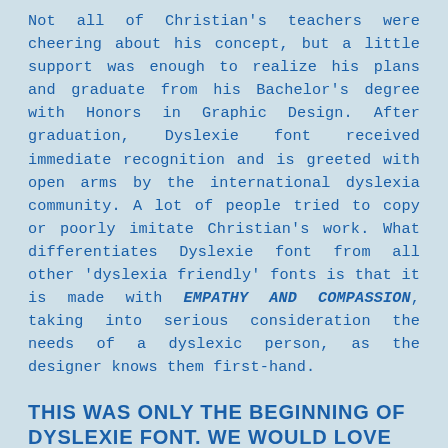Not all of Christian's teachers were cheering about his concept, but a little support was enough to realize his plans and graduate from his Bachelor's degree with Honors in Graphic Design. After graduation, Dyslexie font received immediate recognition and is greeted with open arms by the international dyslexia community. A lot of people tried to copy or poorly imitate Christian's work. What differentiates Dyslexie font from all other 'dyslexia friendly' fonts is that it is made with EMPATHY AND COMPASSION, taking into serious consideration the needs of a dyslexic person, as the designer knows them first-hand.
THIS WAS ONLY THE BEGINNING OF DYSLEXIE FONT. WE WOULD LOVE TO SHARE SOME OF OUR HIGHLIGHTS OF THE LAST YEARS.